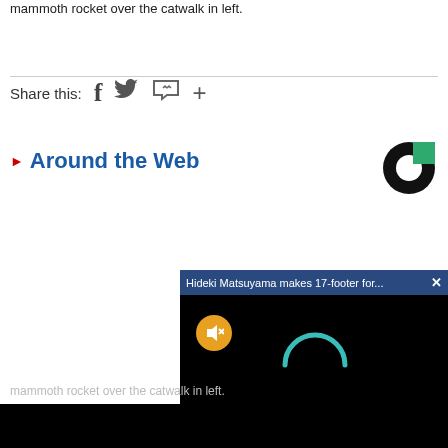mammoth rocket over the catwalk in left.
Share this:
Around the Web
[Figure (logo): Taboola logo — black donut/circle with green square segment]
[Figure (screenshot): Video popup overlay with dark blue title bar reading 'Hideki Matsuyama makes 17-footer for...' with an X close button, black video area showing a yellow mute button (speaker with X) and a teal loading spinner arc]
mammoth rocket over the catwalk in left.